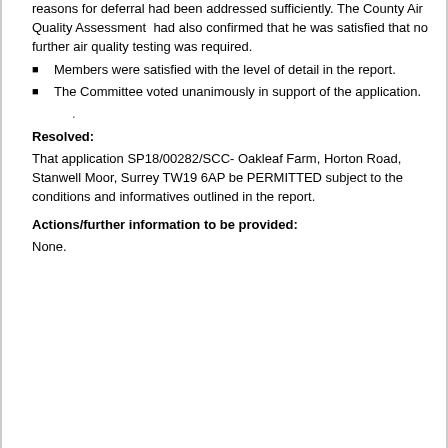reasons for deferral had been addressed sufficiently. The County Air Quality Assessment had also confirmed that he was satisfied that no further air quality testing was required.
Members were satisfied with the level of detail in the report.
The Committee voted unanimously in support of the application.
Resolved:
That application SP18/00282/SCC- Oakleaf Farm, Horton Road, Stanwell Moor, Surrey TW19 6AP be PERMITTED subject to the conditions and informatives outlined in the report.
Actions/further information to be provided:
None.